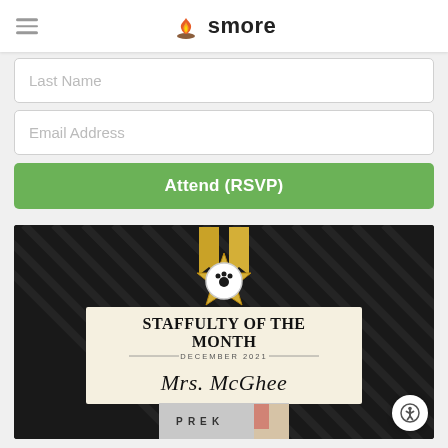smore
Last Name
Email Address
Attend (RSVP)
[Figure (photo): Award graphic on dark diagonal-striped background showing a gold star/ribbon badge with a paw print, a cream-colored banner reading 'STAFFULTY OF THE MONTH - DECEMBER 2021 - Mrs. McGhee', and a partial classroom photo at the bottom showing letters P-R-E-K]